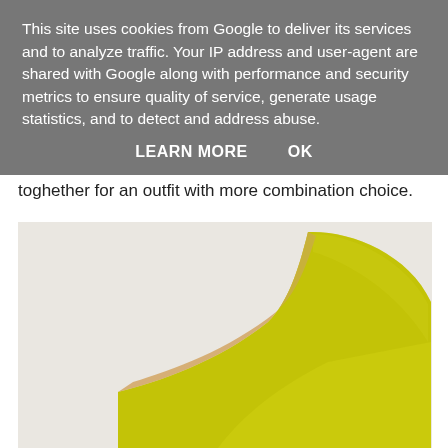This site uses cookies from Google to deliver its services and to analyze traffic. Your IP address and user-agent are shared with Google along with performance and security metrics to ensure quality of service, generate usage statistics, and to detect and address abuse.
LEARN MORE    OK
toghether for an outfit with more combination choice.
[Figure (photo): A yellow/chartreuse pointed-toe high heel pump shoe photographed against a light gray/white background. Only the front and upper portion of the shoe is visible, showing the glossy yellow upper and the beige interior lining.]